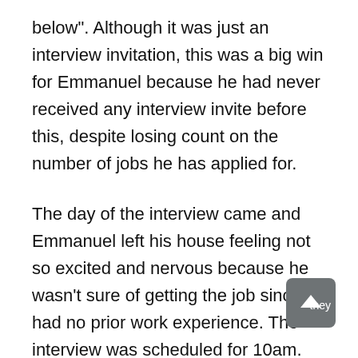below". Although it was just an interview invitation, this was a big win for Emmanuel because he had never received any interview invite before this, despite losing count on the number of jobs he has applied for.
The day of the interview came and Emmanuel left his house feeling not so excited and nervous because he wasn't sure of getting the job since he had no prior work experience. The interview was scheduled for 10am. Emmanuel and nine other candidates who arrived the venue were received at the gate by the gateman who told them they would have to sit at his security post and wait to be